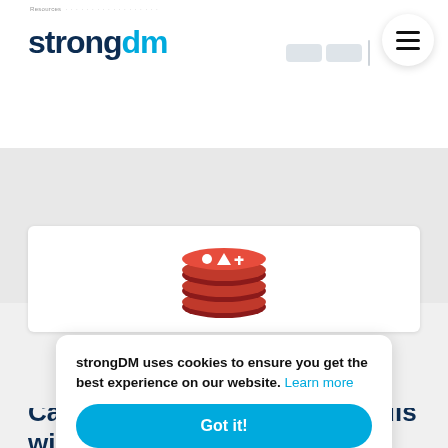strongdm
[Figure (logo): Redis logo — stacked red layers with white symbols on top]
Redis
strongDM uses cookies to ensure you get the best experience on our website. Learn more
Got it!
Capable of connection to Redis will work